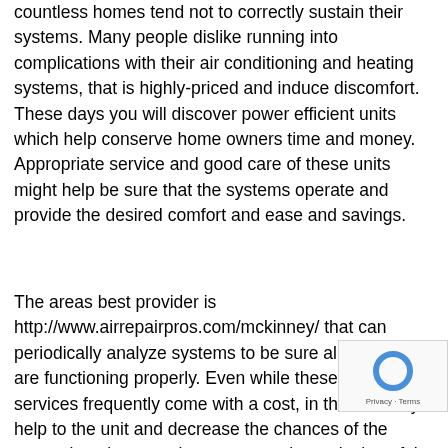countless homes tend not to correctly sustain their systems. Many people dislike running into complications with their air conditioning and heating systems, that is highly-priced and induce discomfort. These days you will discover power efficient units which help conserve home owners time and money. Appropriate service and good care of these units might help be sure that the systems operate and provide the desired comfort and ease and savings.
The areas best provider is http://www.airrepairpros.com/mckinney/ that can periodically analyze systems to be sure all aspects are functioning properly. Even while these types of services frequently come with a cost, in the end they help to the unit and decrease the chances of the necessity pricey repairs or even entire replacing of the system. Many
[Figure (other): reCAPTCHA badge with circular arrows logo and 'Privacy - Terms' text]